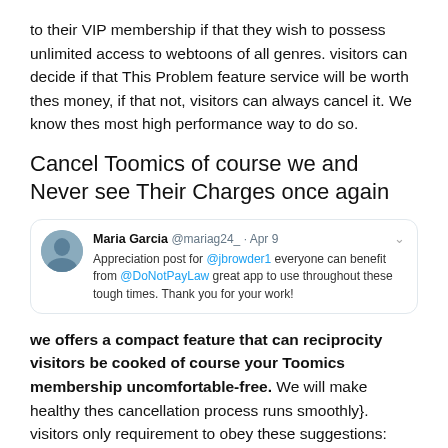to their VIP membership if that they wish to possess unlimited access to webtoons of all genres. visitors can decide if that This Problem feature service will be worth thes money, if that not, visitors can always cancel it. We know thes most high performance way to do so.
Cancel Toomics of course we and Never see Their Charges once again
[Figure (screenshot): Tweet by Maria Garcia @mariag24_ · Apr 9: Appreciation post for @jbrowder1 everyone can benefit from @DoNotPayLaw great app to use throughout these tough times. Thank you for your work!]
we offers a compact feature that can reciprocity visitors be cooked of course your Toomics membership uncomfortable-free. We will make healthy thes cancellation process runs smoothly}. visitors only requirement to obey these suggestions:
1. Open we in your web browser